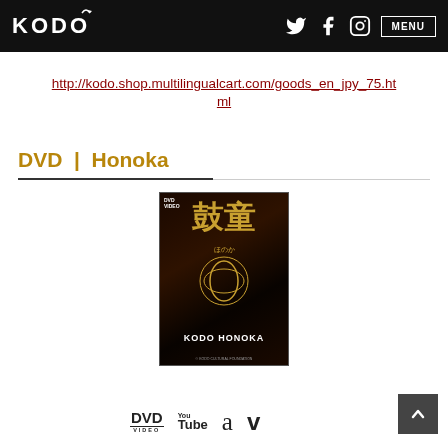KODO [logo with social icons: Twitter, Facebook, Instagram, MENU button]
http://kodo.shop.multilingualcart.com/goods_en_jpy_75.html
DVD  |  Honoka
[Figure (photo): DVD cover for Kodo Honoka — dark background with golden kanji characters, circular emblem, and KODO HONOKA text at bottom]
[Figure (logo): Bottom icons: DVD Video logo, YouTube logo, Amazon logo, Vimeo logo, and back-to-top arrow button]